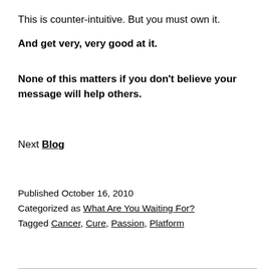This is counter-intuitive. But you must own it.
And get very, very good at it.
None of this matters if you don't believe your message will help others.
Next Blog
Published October 16, 2010
Categorized as What Are You Waiting For?
Tagged Cancer, Cure, Passion, Platform